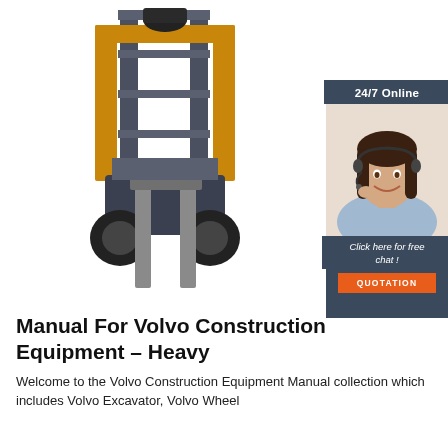[Figure (photo): Front view of a yellow and dark blue/black forklift with forks lowered, on white background]
[Figure (infographic): 24/7 Online support advertisement sidebar with a smiling female customer service agent wearing a headset, dark blue background, orange QUOTATION button, text 'Click here for free chat!']
Manual For Volvo Construction Equipment – Heavy
Welcome to the Volvo Construction Equipment Manual collection which includes Volvo Excavator, Volvo Wheel